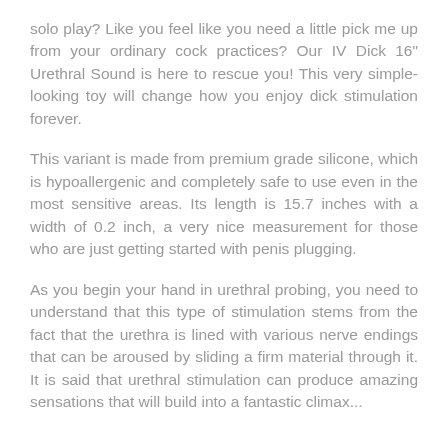solo play? Like you feel like you need a little pick me up from your ordinary cock practices? Our IV Dick 16" Urethral Sound is here to rescue you! This very simple-looking toy will change how you enjoy dick stimulation forever.
This variant is made from premium grade silicone, which is hypoallergenic and completely safe to use even in the most sensitive areas. Its length is 15.7 inches with a width of 0.2 inch, a very nice measurement for those who are just getting started with penis plugging.
As you begin your hand in urethral probing, you need to understand that this type of stimulation stems from the fact that the urethra is lined with various nerve endings that can be aroused by sliding a firm material through it. It is said that urethral stimulation can produce amazing sensations that will build into a fantastic climax...